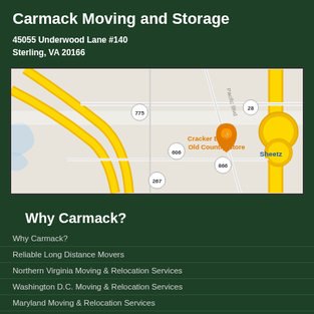Carmack Moving and Storage
45055 Underwood Lane #140
Sterling, VA 20166
[Figure (map): Google Maps screenshot showing the area around 45055 Underwood Lane #140, Sterling, VA 20166, with route markers 775, 28, 606, 866, 267, a Cracker Barrel Old Country Store marker, and a Sheetz marker visible.]
Why Carmack?
Why Carmack?
Reliable Long Distance Movers
Northern Virginia Moving & Relocation Services
Washington D.C. Moving & Relocation Services
Maryland Moving & Relocation Services
Reviews